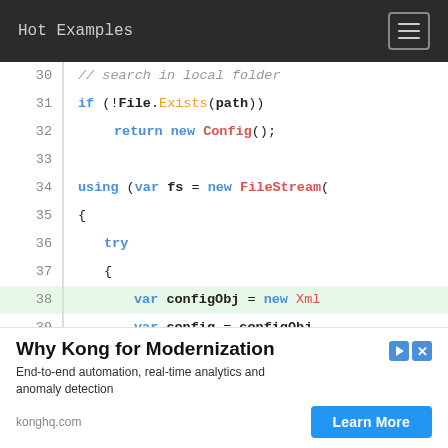Hot Examples
[Figure (screenshot): Code viewer showing C# source code lines 30-44 with syntax highlighting. Line 38 is highlighted in green. Code includes if/return/using/try/catch statements with FileStream, Config, XmlSerializer references.]
Why Kong for Modernization
End-to-end automation, real-time analytics and anomaly detection
konghq.com
Learn More